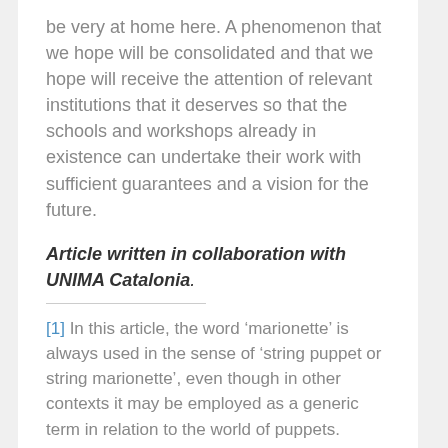be very at home here. A phenomenon that we hope will be consolidated and that we hope will receive the attention of relevant institutions that it deserves so that the schools and workshops already in existence can undertake their work with sufficient guarantees and a vision for the future.
Article written in collaboration with UNIMA Catalonia.
[1] In this article, the word ‘marionette’ is always used in the sense of ‘string puppet or string marionette’, even though in other contexts it may be employed as a generic term in relation to the world of puppets.